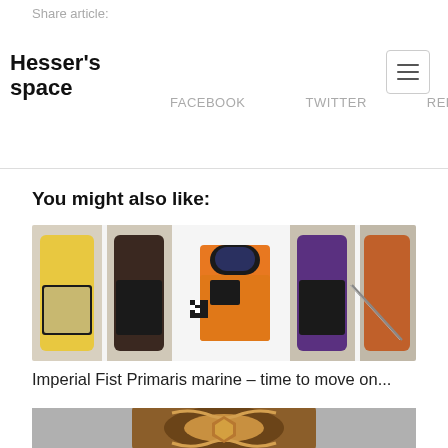Share article:
Hesser's space
FACEBOOK   TWITTER   REDDIT
You might also like:
[Figure (photo): Orange Imperial Fist Primaris Space Marine miniature standing in front of Scalecolor paint bottles with tweezers on a white surface]
Imperial Fist Primaris marine – time to move on...
[Figure (photo): Close-up of a painted brown and gold shield or chest piece miniature with ornate decorations on a grey background]